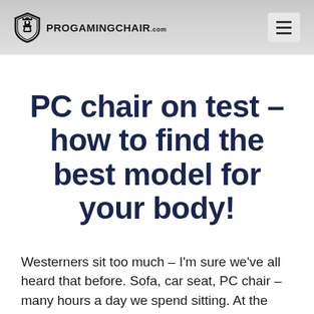PROGAMINGCHAIR.com
PC chair on test - how to find the best model for your body!
Westerners sit too much – I'm sure we've all heard that before. Sofa, car seat, PC chair – many hours a day we spend sitting. At the same